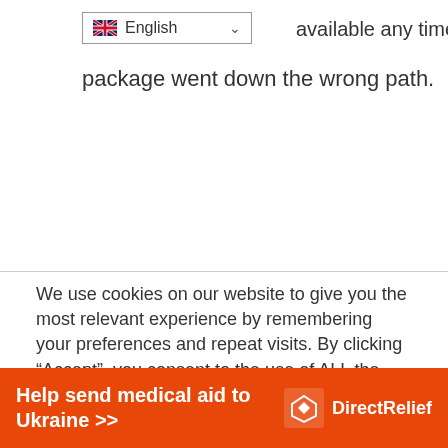[Figure (screenshot): Language selector dropdown showing UK flag and 'English' with a dropdown chevron arrow]
available any time a package went down the wrong path.
We use cookies on our website to give you the most relevant experience by remembering your preferences and repeat visits. By clicking “Accept”, you consent to the use of ALL the cookies.
Do not sell my personal information.
[Figure (screenshot): Two buttons: a grey 'Cookie Settings' button and a green 'Accept' button]
[Figure (infographic): Orange banner reading 'Help send medical aid to Ukraine >>' with DirectRelief logo on the right]